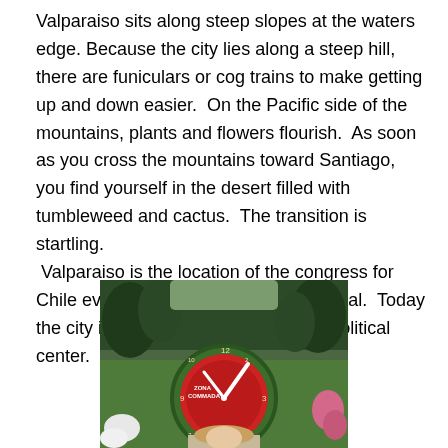Valparaiso sits along steep slopes at the waters edge. Because the city lies along a steep hill, there are funiculars or cog trains to make getting up and down easier. On the Pacific side of the mountains, plants and flowers flourish. As soon as you cross the mountains toward Santiago, you find yourself in the desert filled with tumbleweed and cactus. The transition is startling. Valparaiso is the location of the congress for Chile even though Santiago is the capital. Today the city is a business, education and political center.
[Figure (photo): A flower clock made of red flowers arranged in a circular clock face with white clock hands, surrounded by green grass and garden plants. A person is partially visible at the bottom of the image.]